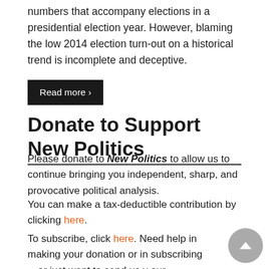numbers that accompany elections in a presidential election year. However, blaming the low 2014 election turn-out on a historical trend is incomplete and deceptive.
Read more ›
Donate to Support New Politics
Please donate to New Politics to allow us to continue bringing you independent, sharp, and provocative political analysis.
You can make a tax-deductible contribution by clicking here.
To subscribe, click here. Need help in making your donation or in subscribing—or just want to send us your suggestions? Contact us at